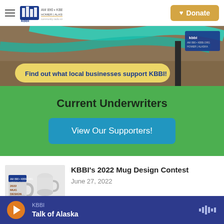[Figure (logo): KBBI AM 890 radio station logo, Homer Alaska]
Donate
[Figure (photo): Find out what local businesses support KBBI! - banner image with outdoor scene and teal colored object]
Current Underwriters
View Our Supporters!
[Figure (photo): KBBI 2022 Mug Design Contest thumbnail image showing coffee mugs]
KBBI's 2022 Mug Design Contest
June 27, 2022
KBBI Talk of Alaska